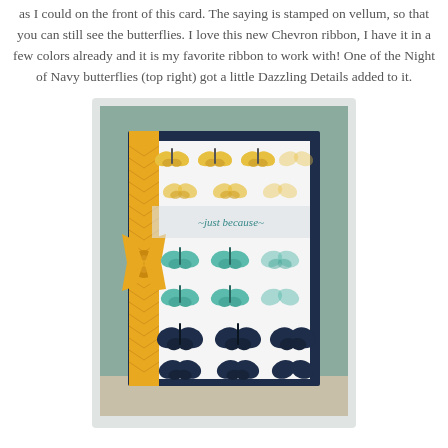as I could on the front of this card. The saying is stamped on vellum, so that you can still see the butterflies. I love this new Chevron ribbon, I have it in a few colors already and it is my favorite ribbon to work with! One of the Night of Navy butterflies (top right) got a little Dazzling Details added to it.
[Figure (photo): Photo of a handmade greeting card with butterfly stamp pattern in yellow, teal/mint, and navy blue colors on white background, with a yellow chevron ribbon tied on the left side, and a vellum strip stamped with 'just because' in the middle. Card is set against a sage green background.]